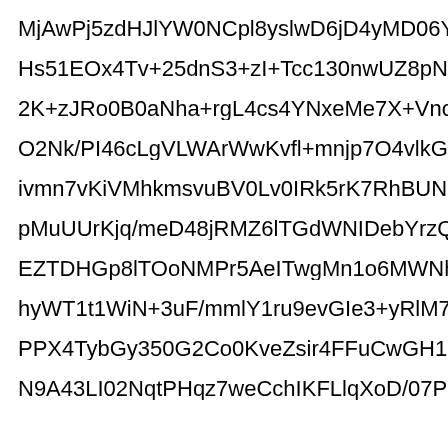MjAwPj5zdHJlYW0NCpl8yslwD6jD4yMD06Y8TUFMSvP1yvW
Hs51EOx4Tv+25dnS3+zI+Tcc130nwUZ8pNcCXBJdVkYpkHR
2K+zJRo0B0aNha+rgL4cs4YNxeMe7X+VnooUyHGWXfES5k
O2Nk/PI46cLgVLWArWwKvfl+mnjp7O4vlkG1cjM2vwwufp7XM
ivmn7vKiVMhkmsvuBV0Lv0IRk5rK7RhBUNIX4GX4URozxxp-
pMuUUrKjq/meD48jRMZ6lTGdWNIDebYrzQgJ3dOwelHeM5d
EZTDHGp8lTOoNMPr5AeITwgMn1o6MWNhPDy0xSt3nxeylW
hyWT1t1WiN+3uF/mmlY1ru9evGIe3+yRlM7VatPHBXtWoVj2U
PPX4TybGy350G2Co0KveZsir4FFuCwGH1dlDvl7Lmhl9tt8ue
N9A43LI02NqtPHqz7weCchIKFLlqXoD/07PI4McBCWFvt2Pi